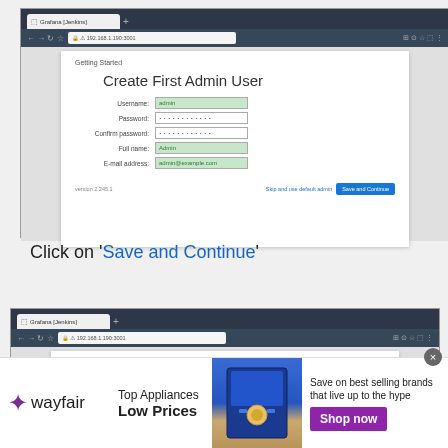[Figure (screenshot): Browser screenshot showing 'Create First Admin User' form with fields for Username (admin, green), Password (dots), Confirm password (dots), Full name (Admin, green), E-mail address (admin@example.com, green). Footer shows version and 'Save and Continue' button.]
Click on ‘Save and Continue’
[Figure (screenshot): Browser screenshot showing 'Getting Started' page, partially visible.]
[Figure (infographic): Wayfair advertisement banner: Top Appliances Low Prices, Save on best selling brands that live up to the hype, Shop now button. Wayfair logo on left, appliance image in center.]